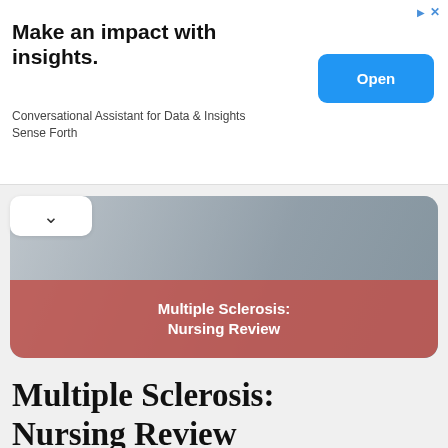[Figure (screenshot): Advertisement banner: 'Make an impact with insights. Conversational Assistant for Data & Insights Sense Forth' with blue Open button]
[Figure (photo): Card with photo background and terracotta/pink overlay reading 'Multiple Sclerosis: Nursing Review']
Multiple Sclerosis: Nursing Review
[Figure (photo): Video thumbnail from qd nurses showing a person in blue scrubs holding their knee on wooden stairs]